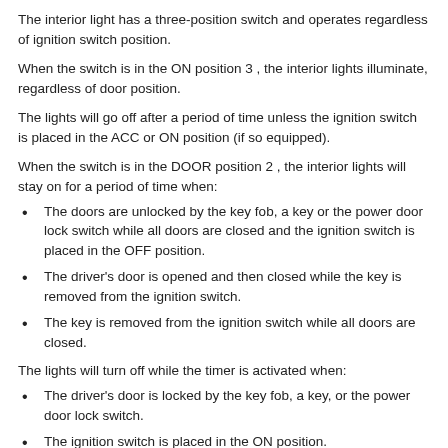The interior light has a three-position switch and operates regardless of ignition switch position.
When the switch is in the ON position 3 , the interior lights illuminate, regardless of door position.
The lights will go off after a period of time unless the ignition switch is placed in the ACC or ON position (if so equipped).
When the switch is in the DOOR position 2 , the interior lights will stay on for a period of time when:
The doors are unlocked by the key fob, a key or the power door lock switch while all doors are closed and the ignition switch is placed in the OFF position.
The driver's door is opened and then closed while the key is removed from the ignition switch.
The key is removed from the ignition switch while all doors are closed.
The lights will turn off while the timer is activated when:
The driver's door is locked by the key fob, a key, or the power door lock switch.
The ignition switch is placed in the ON position.
When the switch is in the OFF position 1 , the interior lights do not illuminate regardless of door position.